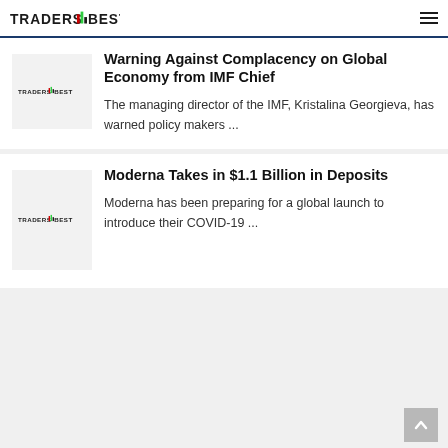TRADERS BEST
[Figure (logo): TradersBest logo thumbnail for first article]
Warning Against Complacency on Global Economy from IMF Chief
The managing director of the IMF, Kristalina Georgieva, has warned policy makers ...
[Figure (logo): TradersBest logo thumbnail for second article]
Moderna Takes in $1.1 Billion in Deposits
Moderna has been preparing for a global launch to introduce their COVID-19 ...